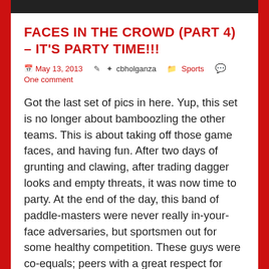[Figure (photo): Dark image bar at the top of the page]
FACES IN THE CROWD (PART 4) – IT'S PARTY TIME!!!
📅 May 13, 2013   ✎ cbholganza   🗁 Sports   💬 One comment
Got the last set of pics in here. Yup, this set is no longer about bamboozling the other teams. This is about taking off those game faces, and having fun. After two days of grunting and clawing, after trading dagger looks and empty threats, it was now time to party. At the end of the day, this band of paddle-masters were never really in-your-face adversaries, but sportsmen out for some healthy competition. These guys were co-equals; peers with a great respect for each other. These guys